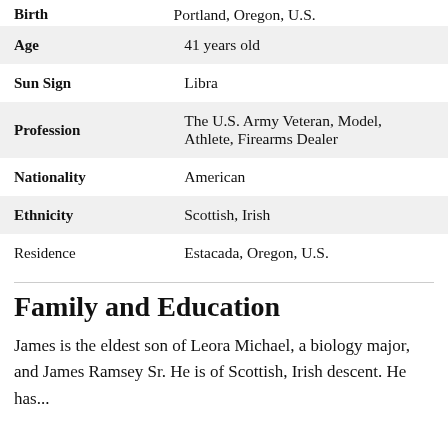| Field | Value |
| --- | --- |
| Birth | Portland, Oregon, U.S. |
| Age | 41 years old |
| Sun Sign | Libra |
| Profession | The U.S. Army Veteran, Model, Athlete, Firearms Dealer |
| Nationality | American |
| Ethnicity | Scottish, Irish |
| Residence | Estacada, Oregon, U.S. |
Family and Education
James is the eldest son of Leora Michael, a biology major, and James Ramsey Sr. He is of Scottish, Irish descent. He has...